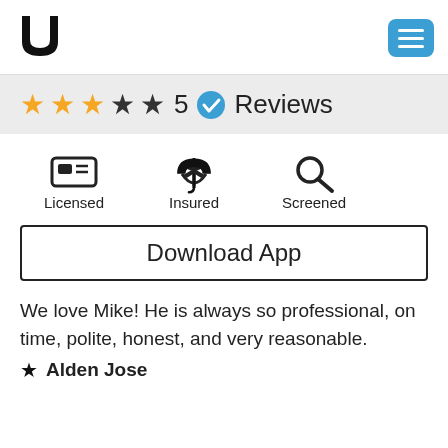[Figure (logo): Uppercase 'U' shaped logo in bold black]
[Figure (screenshot): Blue hamburger menu button with three horizontal white lines]
★★★☆☆ 5 ✓ Reviews
Licensed   Insured   Screened
Download App
We love Mike! He is always so professional, on time, polite, honest, and very reasonable.
★ Alden Jose